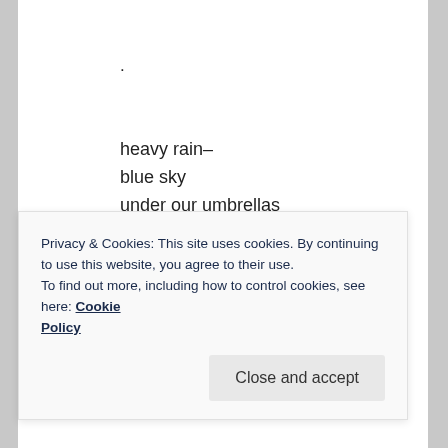.
heavy rain–
blue sky
under our umbrellas
Robyn Cairns is a Melbourne based poet who shares her poetry and photography on twitter @robbiepoet.
Privacy & Cookies: This site uses cookies. By continuing to use this website, you agree to their use.
To find out more, including how to control cookies, see here: Cookie Policy